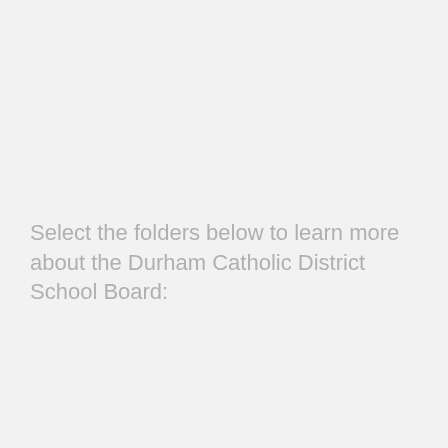Select the folders below to learn more about the Durham Catholic District School Board: